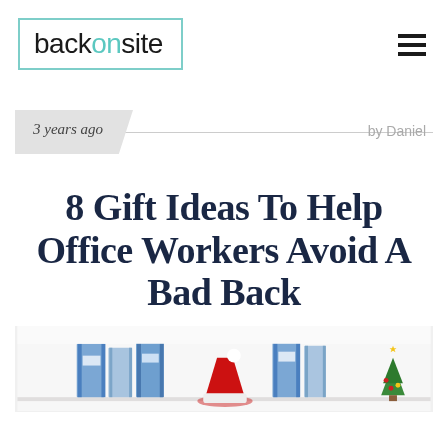backonsite — navigation logo and hamburger menu
3 years ago   by Daniel
8 Gift Ideas To Help Office Workers Avoid A Bad Back
[Figure (photo): Hero image showing a white shelf with blue binders and folders, a person wearing a red Santa hat barely visible, and a small Christmas tree decoration on the right side.]